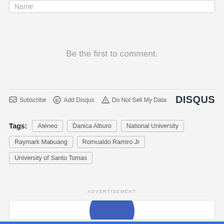Name
Be the first to comment.
Subscribe  Add Disqus  Do Not Sell My Data  DISQUS
Tags: Ateneo  Danica Alburo  National University  Raymark Mabuang  Romualdo Ramiro Jr  University of Santo Tomas
ADVERTISEMENT
[Figure (illustration): Advertisement box with a large dark blue circle partially visible at the bottom center, suggesting a logo or graphic element.]